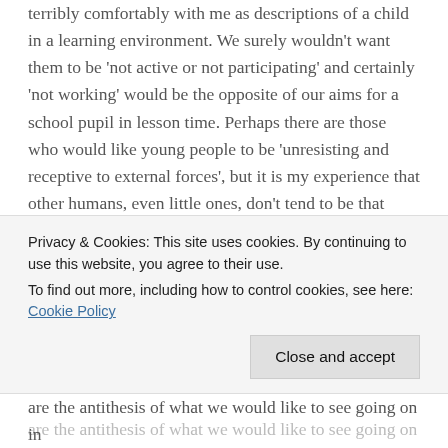terribly comfortably with me as descriptions of a child in a learning environment. We surely wouldn't want them to be 'not active or not participating' and certainly 'not working' would be the opposite of our aims for a school pupil in lesson time. Perhaps there are those who would like young people to be 'unresisting and receptive to external forces', but it is my experience that other humans, even little ones, don't tend to be that malleable without actively engaging in a process themselves.
Looking at synonyms for passive is even more worrying. Do we really want our young people sitting in classrooms to be described as 'apathetic', 'indifferent' or 'uninvolved'?
are the antithesis of what we would like to see going on in
Privacy & Cookies: This site uses cookies. By continuing to use this website, you agree to their use.
To find out more, including how to control cookies, see here: Cookie Policy